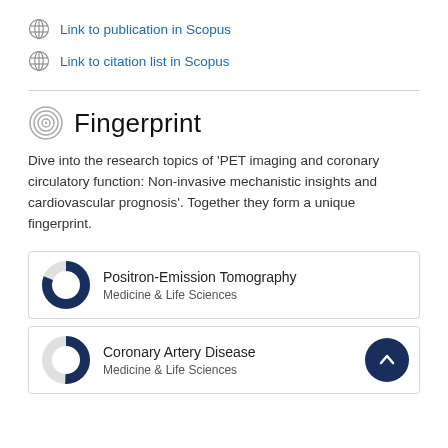Link to publication in Scopus
Link to citation list in Scopus
Fingerprint
Dive into the research topics of 'PET imaging and coronary circulatory function: Non-invasive mechanistic insights and cardiovascular prognosis'. Together they form a unique fingerprint.
Positron-Emission Tomography
Medicine & Life Sciences
Coronary Artery Disease
Medicine & Life Sciences